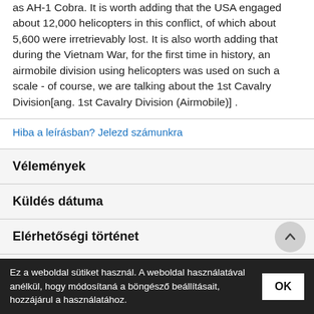as AH-1 Cobra. It is worth adding that the USA engaged about 12,000 helicopters in this conflict, of which about 5,600 were irretrievably lost. It is also worth adding that during the Vietnam War, for the first time in history, an airmobile division using helicopters was used on such a scale - of course, we are talking about the 1st Cavalry Division[ang. 1st Cavalry Division (Airmobile)] .
Hiba a leírásban? Jelezd számunkra
Vélemények
Küldés dátuma
Elérhetőségi történet
ártörténet
Ez a weboldal sütiket használ. A weboldal használatával anélkül, hogy módosítaná a böngésző beállításait, hozzájárul a használatához.